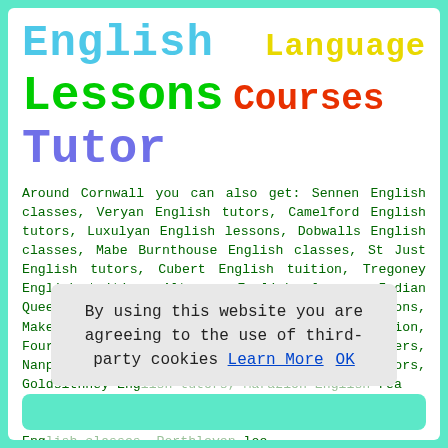English   Language
Lessons Courses Tutor
Around Cornwall you can also get: Sennen English classes, Veryan English tutors, Camelford English tutors, Luxulyan English lessons, Dobwalls English classes, Mabe Burnthouse English classes, St Just English tutors, Cubert English tuition, Tregoney English tuition, Altarnun English classes, Indian Queens English classes, Gerrans English lessons, Maker English tuition, St Erth English tuition, Four Lanes English tuition, Rame English teachers, Nanpean English tutors, Gunnislake English tutors, Goldsithney Eng... rea Eng... ias Eng... use Eng... loe Eng... ian Eng...
By using this website you are agreeing to the use of third-party cookies Learn More   OK